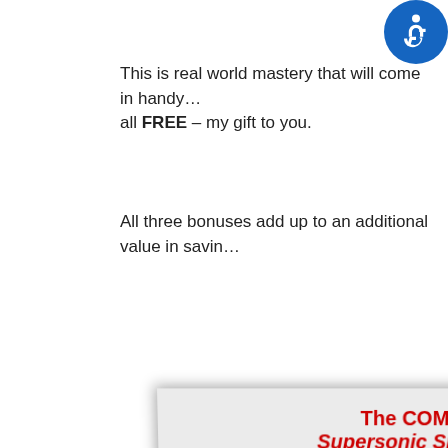[Figure (other): Blue circular accessibility icon with wheelchair symbol in top right corner]
This is real world mastery that will come in handy … all FREE – my gift to you.
All three bonuses add up to an additional value in savin…
The COMPLETE … Supersonic Speed Lea…
Accelerated Learning Techniques by …
Accelerated Learning Techniques In A…
Howard Berg's Maximum Speed Read…
Howard Berg's Maximum Speed Lear…
Quantum Memory Power by Dominic O…